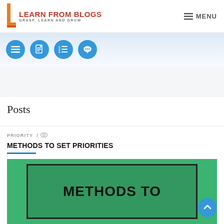LEARN FROM BLOGS — GRASP, LEARN AND GROW
[Figure (screenshot): Navigation icon bar with four blue circular icons]
Posts
PRIORITY /
METHODS TO SET PRIORITIES
[Figure (illustration): Green background image with text 'METHODS TO' in bold black letters inside a dark-bordered frame]